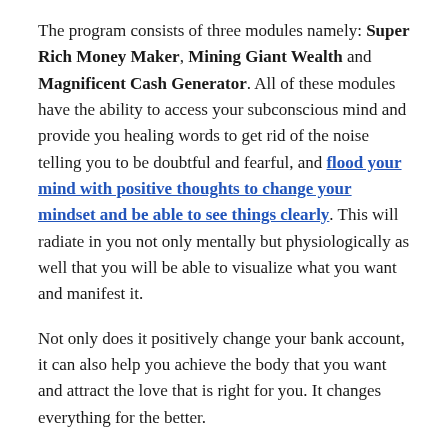The program consists of three modules namely: Super Rich Money Maker, Mining Giant Wealth and Magnificent Cash Generator. All of these modules have the ability to access your subconscious mind and provide you healing words to get rid of the noise telling you to be doubtful and fearful, and flood your mind with positive thoughts to change your mindset and be able to see things clearly. This will radiate in you not only mentally but physiologically as well that you will be able to visualize what you want and manifest it.
Not only does it positively change your bank account, it can also help you achieve the body that you want and attract the love that is right for you. It changes everything for the better.
Advantages: